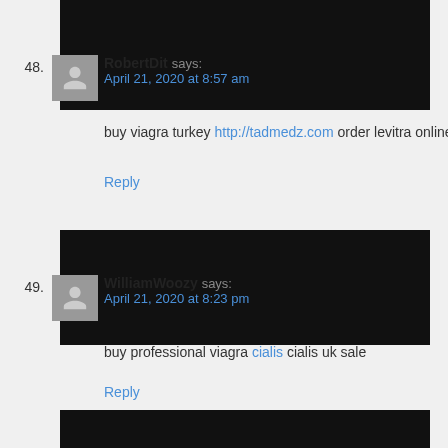48. RobertDit says: April 21, 2020 at 8:57 am — buy viagra turkey http://tadmedz.com order levitra online canada
49. WilliamWoozy says: April 21, 2020 at 8:23 pm — buy professional viagra cialis cialis uk sale
[Figure (screenshot): Partial third comment block with dark banner, cut off at bottom]